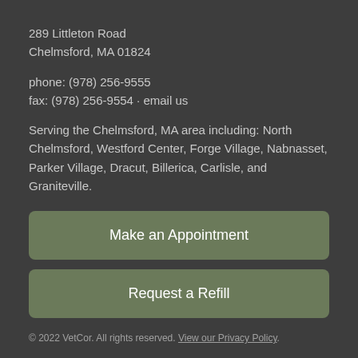289 Littleton Road
Chelmsford, MA 01824
phone: (978) 256-9555
fax: (978) 256-9554 · email us
Serving the Chelmsford, MA area including: North Chelmsford, Westford Center, Forge Village, Nabnasset, Parker Village, Dracut, Billerica, Carlisle, and Graniteville.
Make an Appointment
Request a Refill
© 2022 VetCor. All rights reserved. View our Privacy Policy.